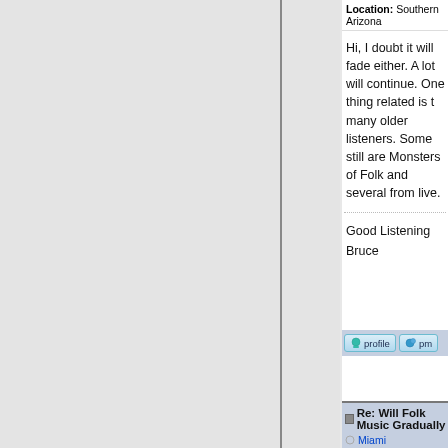Location: Southern Arizona
Hi, I doubt it will fade either. A lot will continue. One thing related is t many older listeners. Some still are Monsters of Folk and several from live.
Good Listening
Bruce
[Figure (screenshot): Profile and PM buttons in a light blue action bar]
Re: Will Folk Music Gradually
Miami